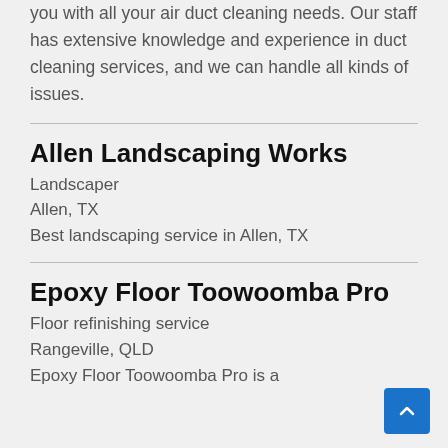you with all your air duct cleaning needs. Our staff has extensive knowledge and experience in duct cleaning services, and we can handle all kinds of issues.
Allen Landscaping Works
Landscaper
Allen, TX
Best landscaping service in Allen, TX
Epoxy Floor Toowoomba Pro
Floor refinishing service
Rangeville, QLD
Epoxy Floor Toowoomba Pro is a